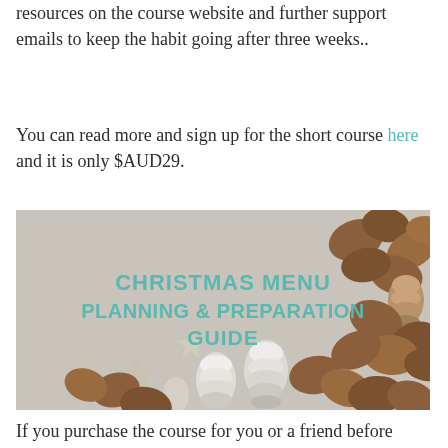resources on the course website and further support emails to keep the habit going after three weeks..
You can read more and sign up for the short course here and it is only $AUD29.
[Figure (illustration): Christmas Menu Planning & Preparation Guide promotional image with nuts, pine cones, and star decorations on a grey background with teal text overlay.]
If you purchase the course for you or a friend before Sunday December 16, 2018 and you will receive a free Christmas Menu Planning...